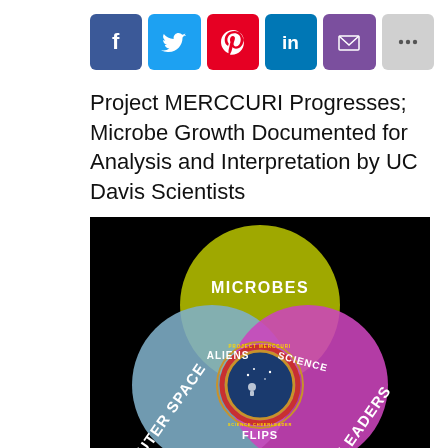[Figure (infographic): Social sharing button bar with icons for Facebook (blue), Twitter (light blue), Pinterest (red), LinkedIn (blue), Email/envelope (purple), and more/ellipsis (gray)]
Project MERCCURI Progresses; Microbe Growth Documented for Analysis and Interpretation by UC Davis Scientists
[Figure (infographic): Venn diagram on black background with three overlapping circles: yellow-green circle labeled MICROBES (top), blue-gray circle labeled OUTER SPACE (bottom left), and magenta circle labeled CHEERLEADERS (bottom right). Overlapping regions are labeled: ALIENS (left overlap), SCIENCE (right overlap), FLIPS (bottom overlap), and the center shows a circular Project MERCCURI / Science Cheerleader badge logo.]